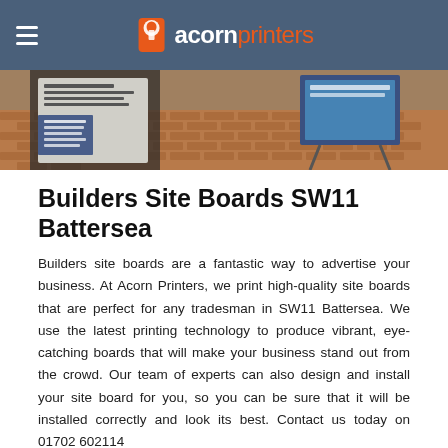acornprinters
[Figure (photo): Outdoor photo showing builders site boards on a brick-paved area, with signage boards visible on the left and a board on a stand on the right.]
Builders Site Boards SW11 Battersea
Builders site boards are a fantastic way to advertise your business. At Acorn Printers, we print high-quality site boards that are perfect for any tradesman in SW11 Battersea. We use the latest printing technology to produce vibrant, eye-catching boards that will make your business stand out from the crowd. Our team of experts can also design and install your site board for you, so you can be sure that it will be installed correctly and look its best. Contact us today on 01702 602114